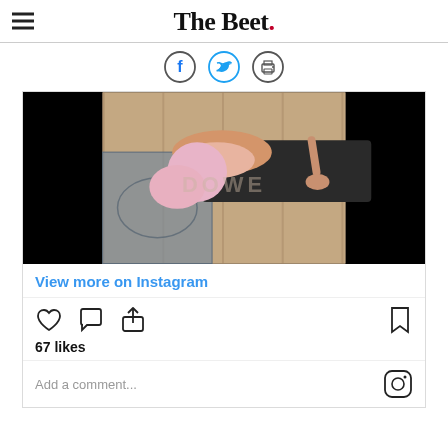The Beet.
[Figure (screenshot): Social share bar with Facebook, Twitter, and print icons]
[Figure (photo): Instagram embed showing a person in pink leggings doing a yoga pose on a dark mat on a wood floor, with a decorative rug visible. Image has black letterbox bars on the sides. A watermark reads DOWE in the center.]
View more on Instagram
[Figure (screenshot): Instagram action icons: heart (like), comment bubble, share arrow on left; bookmark icon on right]
67 likes
Add a comment...